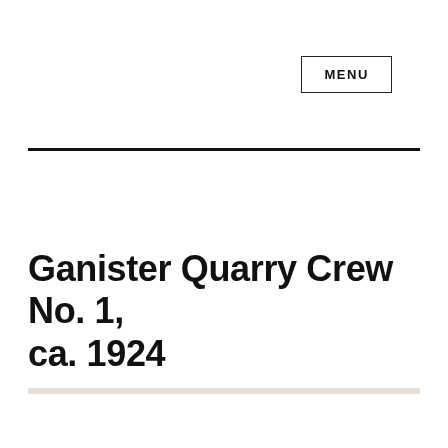MENU
Ganister Quarry Crew No. 1, ca. 1924